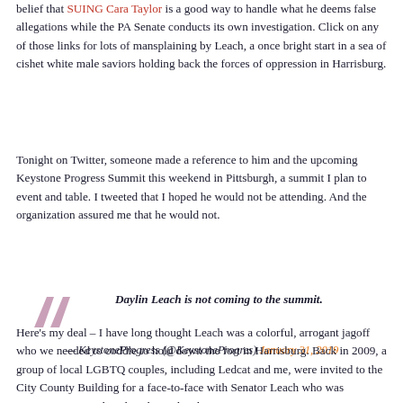belief that SUING Cara Taylor is a good way to handle what he deems false allegations while the PA Senate conducts its own investigation. Click on any of those links for lots of mansplaining by Leach, a once bright start in a sea of cishet white male saviors holding back the forces of oppression in Harrisburg.
Tonight on Twitter, someone made a reference to him and the upcoming Keystone Progress Summit this weekend in Pittsburgh, a summit I plan to event and table. I tweeted that I hoped he would not be attending. And the organization assured me that he would not.
Daylin Leach is not coming to the summit.
— KeystoneProgress (@KeystoneProgres) January 31, 2019
Here's my deal – I have long thought Leach was a colorful, arrogant jagoff who we needed to coddle to hold down the fort in Harrisburg. Back in 2009, a group of local LGBTQ couples, including Ledcat and me, were invited to the City County Building for a face-to-face with Senator Leach who was preparing to introduce legislation legalizing marriage